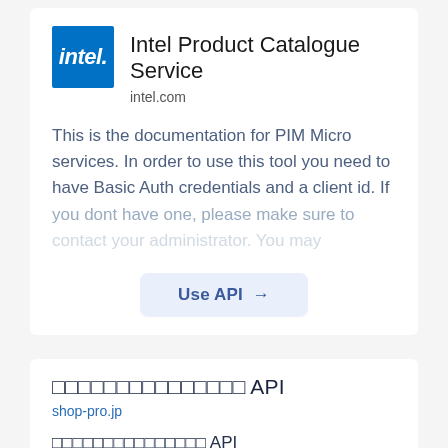[Figure (logo): Intel logo — blue square with white italic 'intel.' text]
Intel Product Catalogue Service
intel.com
This is the documentation for PIM Micro services. In order to use this tool you need to have Basic Auth credentials and a client id. If you dont have one, please make sure to
Use API →
□□□□□□□□□□□□□□□ API
shop-pro.jp
□□□□□□□□□□□□□□□ API
□□□□□□□□□□□□□□□□□□□□□□□□□□□□□□□API□□□□□□□□□□□